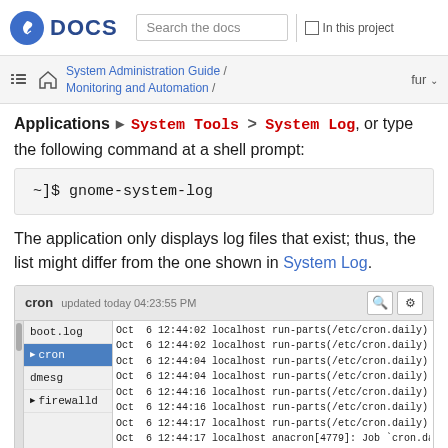Fedora DOCS  Search the docs  In this project
System Administration Guide / Monitoring and Automation /  fur
Applications > System Log, or type the following command at a shell prompt:
~]$ gnome-system-log
The application only displays log files that exist; thus, the list might differ from the one shown in System Log.
[Figure (screenshot): Screenshot of the GNOME System Log application showing the cron log selected in the sidebar (with boot.log, cron, dmesg, firewalld listed) and log entries on the right showing Oct 6 timestamps with localhost run-parts(/etc/cron.daily) entries. Title bar shows 'cron updated today 04:23:55 PM'.]